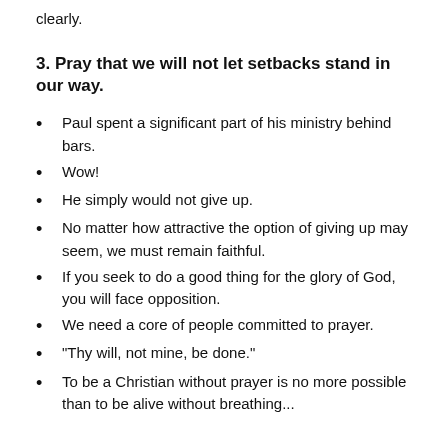clearly.
3. Pray that we will not let setbacks stand in our way.
Paul spent a significant part of his ministry behind bars.
Wow!
He simply would not give up.
No matter how attractive the option of giving up may seem, we must remain faithful.
If you seek to do a good thing for the glory of God, you will face opposition.
We need a core of people committed to prayer.
"Thy will, not mine, be done."
To be a Christian without prayer is no more possible than to be alive without breathing...